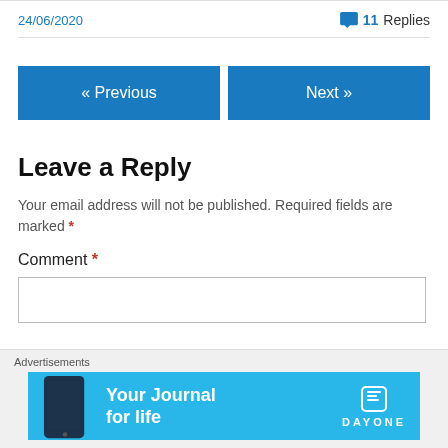24/06/2020
💬 11 Replies
« Previous
Next »
Leave a Reply
Your email address will not be published. Required fields are marked *
Comment *
[Figure (screenshot): Advertisement banner: 'Your Journal for life' — Day One app ad with blue background, phone image, and book icon logo.]
Advertisements